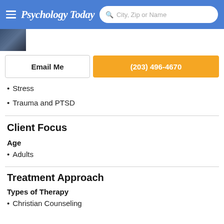Psychology Today | City, Zip or Name search bar
[Figure (photo): Partial profile photo of therapist in dark clothing, partially cropped]
Email Me | (203) 496-4670
Stress
Trauma and PTSD
Client Focus
Age
Adults
Treatment Approach
Types of Therapy
Christian Counseling